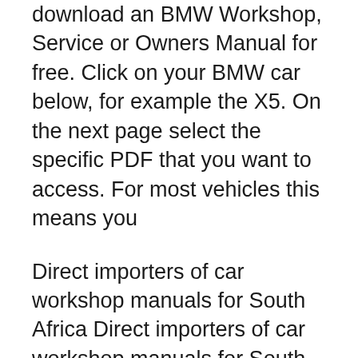download an BMW Workshop, Service or Owners Manual for free. Click on your BMW car below, for example the X5. On the next page select the specific PDF that you want to access. For most vehicles this means you
Direct importers of car workshop manuals for South Africa Direct importers of car workshop manuals for South Africa
Direct importers of car workshop manuals for South Africa Direct importers of car workshop manuals for South Africa
Car Manuals autobooks.co.za